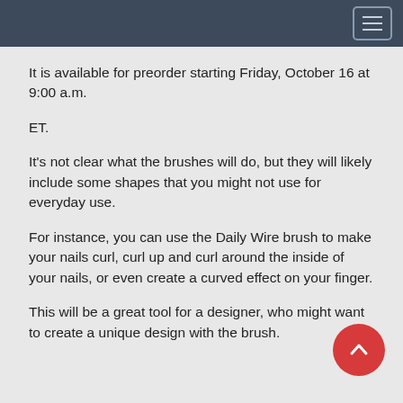It is available for preorder starting Friday, October 16 at 9:00 a.m.
ET.
It's not clear what the brushes will do, but they will likely include some shapes that you might not use for everyday use.
For instance, you can use the Daily Wire brush to make your nails curl, curl up and curl around the inside of your nails, or even create a curved effect on your finger.
This will be a great tool for a designer, who might want to create a unique design with the brush.